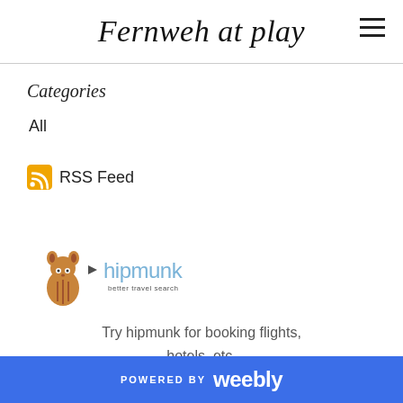Fernweh at play
Categories
All
RSS Feed
[Figure (logo): Hipmunk logo — chipmunk mascot character with 'hipmunk better travel search' text in blue]
Try hipmunk for booking flights, hotels, etc.
POWERED BY weebly